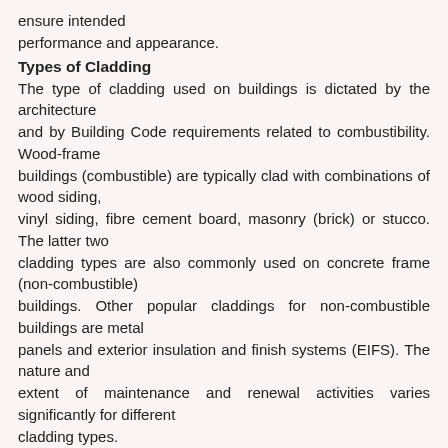ensure intended performance and appearance.
Types of Cladding
The type of cladding used on buildings is dictated by the architecture and by Building Code requirements related to combustibility. Wood-frame buildings (combustible) are typically clad with combinations of wood siding, vinyl siding, fibre cement board, masonry (brick) or stucco. The latter two cladding types are also commonly used on concrete frame (non-combustible) buildings. Other popular claddings for non-combustible buildings are metal panels and exterior insulation and finish systems (EIFS). The nature and extent of maintenance and renewal activities varies significantly for different cladding types.
Why Must the Cladding be Maintained?
Cladding is the first line of defence in a wall assembly. It is